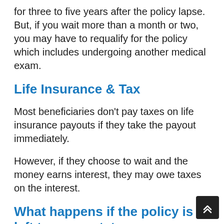for three to five years after the policy lapse. But, if you wait more than a month or two, you may have to requalify for the policy which includes undergoing another medical exam.
Life Insurance & Tax
Most beneficiaries don't pay taxes on life insurance payouts if they take the payout immediately.
However, if they choose to wait and the money earns interest, they may owe taxes on the interest.
What happens if the policy is left to your estate